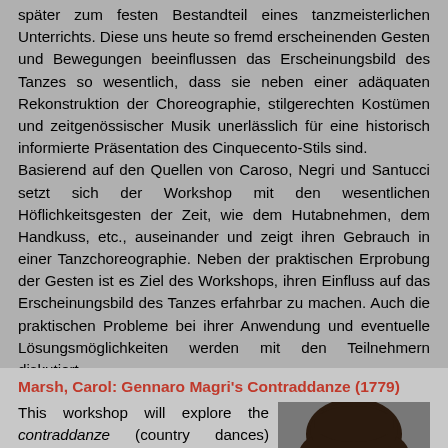später zum festen Bestandteil eines tanzmeisterlichen Unterrichts. Diese uns heute so fremd erscheinenden Gesten und Bewegungen beeinflussen das Erscheinungsbild des Tanzes so wesentlich, dass sie neben einer adäquaten Rekonstruktion der Choreographie, stilgerechten Kostümen und zeitgenössischer Musik unerlässlich für eine historisch informierte Präsentation des Cinquecento-Stils sind.
Basierend auf den Quellen von Caroso, Negri und Santucci setzt sich der Workshop mit den wesentlichen Höflichkeitsgesten der Zeit, wie dem Hutabnehmen, dem Handkuss, etc., auseinander und zeigt ihren Gebrauch in einer Tanzchoreographie. Neben der praktischen Erprobung der Gesten ist es Ziel des Workshops, ihren Einfluss auf das Erscheinungsbild des Tanzes erfahrbar zu machen. Auch die praktischen Probleme bei ihrer Anwendung und eventuelle Lösungsmöglichkeiten werden mit den Teilnehmern diskutiert.
Bitte mitbringen: Hüte, Handschuhe, Taschentücher, Fächer
Marsh, Carol: Gennaro Magri's Contraddanze (1779)
This workshop will explore the contraddanze (country dances) composed by Gennaro Magri for the court of King Ferdinand IV of Naples
[Figure (photo): Portrait photo of a person with dark hair]